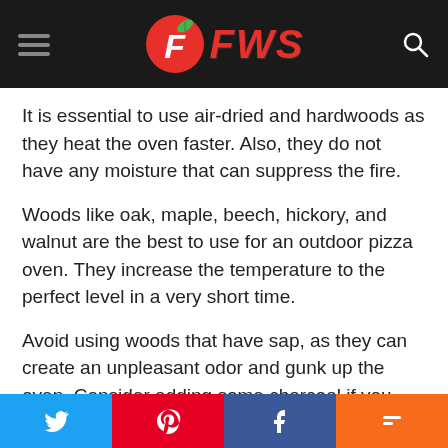FWS
It is essential to use air-dried and hardwoods as they heat the oven faster. Also, they do not have any moisture that can suppress the fire.
Woods like oak, maple, beech, hickory, and walnut are the best to use for an outdoor pizza oven. They increase the temperature to the perfect level in a very short time.
Avoid using woods that have sap, as they can create an unpleasant odor and gunk up the oven. Consider adding some charcoal if you want a smokier flavor to your pizzas.
PROPERLY STARTING A FIRE
Twitter | Pinterest | Facebook | Mix